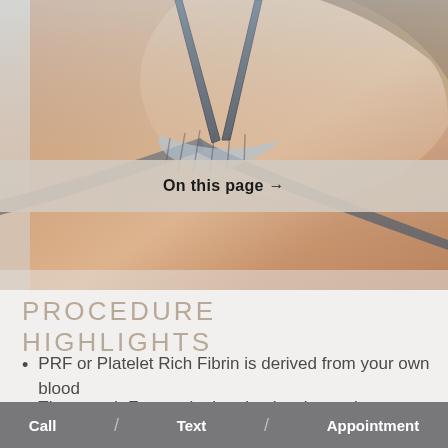[Figure (photo): Partial view of a woman wearing a striped bikini top, skin visible at shoulders and chest, hair blowing, outdoor setting with warm tones]
On this page →
PROCEDURE HIGHLIGHTS
PRF or Platelet Rich Fibrin is derived from your own blood
The growth Factors in the platelets is used to stimulate regeneration in the treated
Call / Text / Appointment